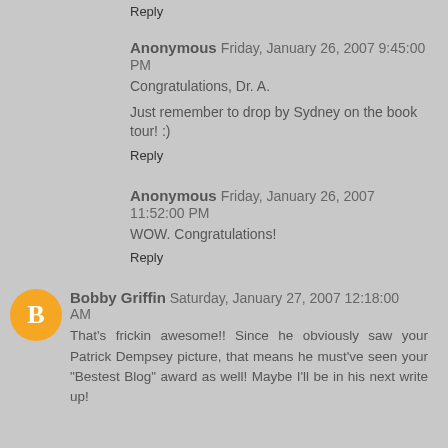Reply
Anonymous  Friday, January 26, 2007 9:45:00 PM
Congratulations, Dr. A.
Just remember to drop by Sydney on the book tour! :)
Reply
Anonymous  Friday, January 26, 2007 11:52:00 PM
WOW. Congratulations!
Reply
Bobby Griffin  Saturday, January 27, 2007 12:18:00 AM
That's frickin awesome!! Since he obviously saw your Patrick Dempsey picture, that means he must've seen your "Bestest Blog" award as well! Maybe I'll be in his next write up!